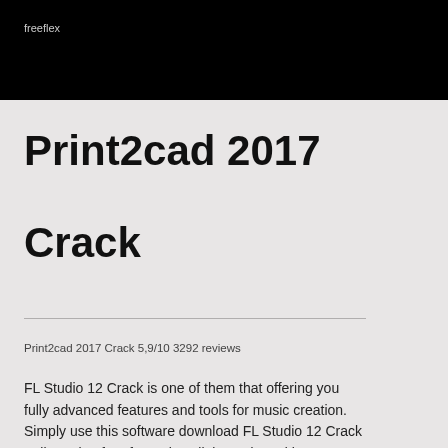freeflex
Print2cad 2017 Crack
Print2cad 2017 Crack 5,9/10 3292 reviews
FL Studio 12 Crack is one of them that offering you fully advanced features and tools for music creation. Simply use this software download FL Studio 12 Crack Full Version free from given links and used it on your pc. You don't need to surf